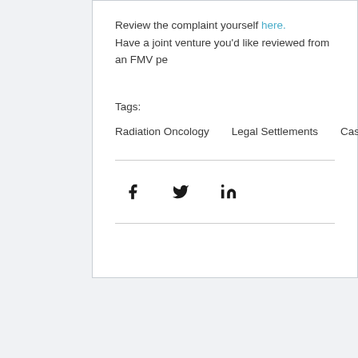Review the complaint yourself here. Have a joint venture you'd like reviewed from an FMV pe
Tags:
Radiation Oncology   Legal Settlements   Case Summarie
[Figure (other): Social share icons: Facebook, Twitter, LinkedIn]